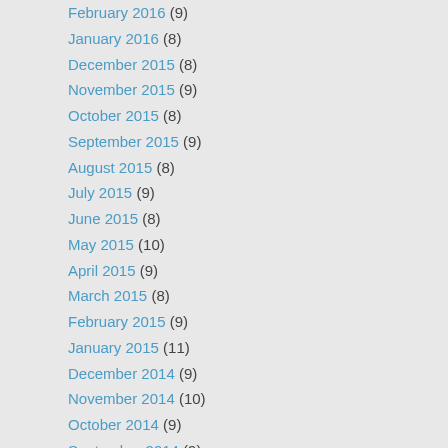February 2016 (9)
January 2016 (8)
December 2015 (8)
November 2015 (9)
October 2015 (8)
September 2015 (9)
August 2015 (8)
July 2015 (9)
June 2015 (8)
May 2015 (10)
April 2015 (9)
March 2015 (8)
February 2015 (9)
January 2015 (11)
December 2014 (9)
November 2014 (10)
October 2014 (9)
September 2014 (9)
August 2014 (12)
July 2014 (8)
June 2014 (9)